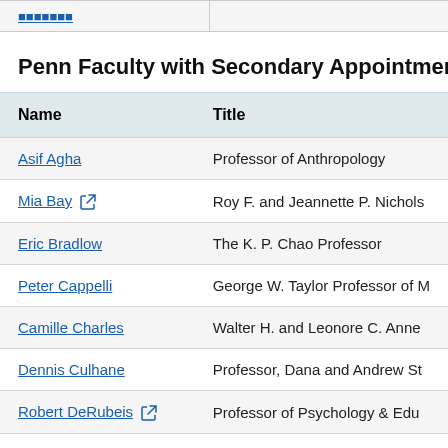Penn Faculty with Secondary Appointments to Pe
| Name | Title |
| --- | --- |
| Asif Agha | Professor of Anthropology |
| Mia Bay [ext] | Roy F. and Jeannette P. Nichols |
| Eric Bradlow | The K. P. Chao Professor |
| Peter Cappelli | George W. Taylor Professor of M |
| Camille Charles | Walter H. and Leonore C. Anne |
| Dennis Culhane | Professor, Dana and Andrew St |
| Robert DeRubeis [ext] | Professor of Psychology & Edu |
| Karen Detlefsen | Professor of Philosophy & Edu |